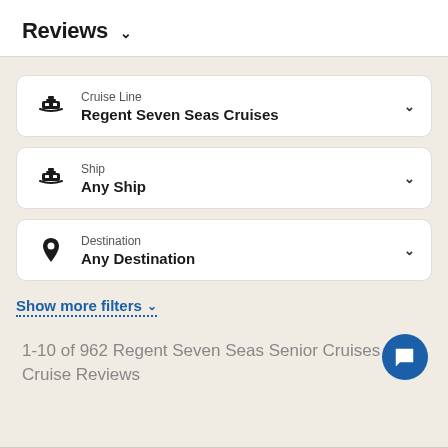Reviews ∨
Cruise Line
Regent Seven Seas Cruises
Ship
Any Ship
Destination
Any Destination
Show more filters ∨
1-10 of 962 Regent Seven Seas Senior Cruises Cruise Reviews